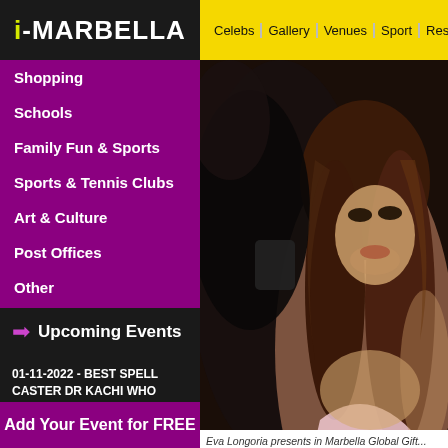i-MARBELLA
Celebs | Gallery | Venues | Sport | Restau...
Shopping
Schools
Family Fun & Sports
Sports & Tennis Clubs
Art & Culture
Post Offices
Other
Upcoming Events
01-11-2022 - BEST SPELL CASTER DR KACHI WHO HELP ME WIN LOTTO MAX DRKACHISPELLCAST@GMAIL.C
[Figure (photo): Photo of Eva Longoria at Marbella Global Gift event]
Eva Longoria presents in Marbella Global Gift... Santiago on July 12, 2019 Source: i-Marbella...
After entering the world of motherhood a... Baston presents in Marbella an incredible... of Global Gift accompanied by her son Sa...
Add Your Event for FREE